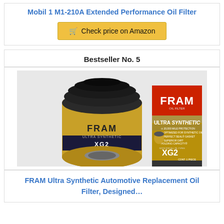Mobil 1 M1-210A Extended Performance Oil Filter
Check price on Amazon
Bestseller No. 5
[Figure (photo): FRAM Ultra Synthetic XG2 oil filter product photo showing the gold and black filter alongside its retail box packaging with ULTRA SYNTHETIC branding]
FRAM Ultra Synthetic Automotive Replacement Oil Filter, Designed...